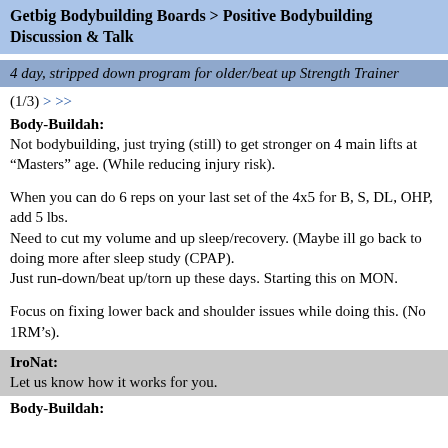Getbig Bodybuilding Boards > Positive Bodybuilding Discussion & Talk
4 day, stripped down program for older/beat up Strength Trainer
(1/3) > >>
Body-Buildah:
Not bodybuilding, just trying (still) to get stronger on 4 main lifts at "Masters" age. (While reducing injury risk).
When you can do 6 reps on your last set of the 4x5 for B, S, DL, OHP, add 5 lbs.
Need to cut my volume and up sleep/recovery. (Maybe ill go back to doing more after sleep study (CPAP).
Just run-down/beat up/torn up these days. Starting this on MON.
Focus on fixing lower back and shoulder issues while doing this. (No 1RM's).
IroNat:
Let us know how it works for you.
Body-Buildah: